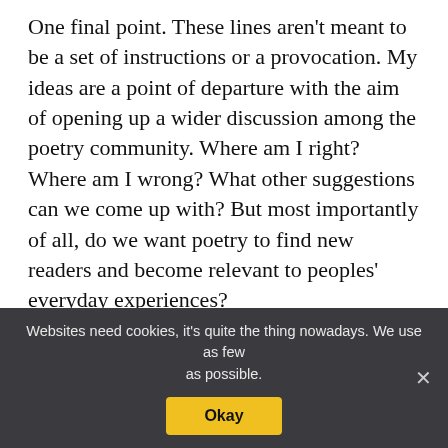One final point. These lines aren't meant to be a set of instructions or a provocation. My ideas are a point of departure with the aim of opening up a wider discussion among the poetry community. Where am I right? Where am I wrong? What other suggestions can we come up with? But most importantly of all, do we want poetry to find new readers and become relevant to peoples' everyday experiences?
My own view is that poetry should attempt to
Websites need cookies, it's quite the thing nowadays. We use as few as possible.